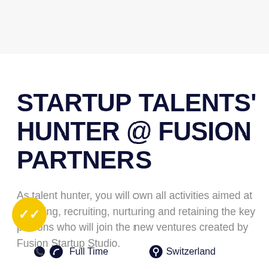STARTUP TALENTS' HUNTER @ FUSION PARTNERS
As talent hunter, you will own all activities aimed at selecting, recruiting, nurturing and retaining the key persons who will join the new ventures created by Fusion Startup Studio.
[Figure (other): Yellow circular badge with double checkmark icon]
Full Time    Switzerland